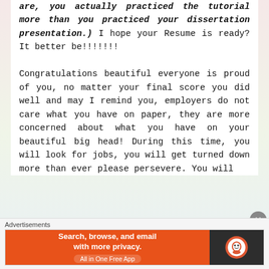are, you actually practiced the tutorial more than you practiced your dissertation presentation.) I hope your Resume is ready? It better be!!!!!!!

Congratulations beautiful everyone is proud of you, no matter your final score you did well and may I remind you, employers do not care what you have on paper, they are more concerned about what you have on your beautiful big head! During this time, you will look for jobs, you will get turned down more than ever please persevere. You will
[Figure (screenshot): DuckDuckGo advertisement banner: orange left panel with text 'Search, browse, and email with more privacy. All in One Free App' and dark right panel with DuckDuckGo logo]